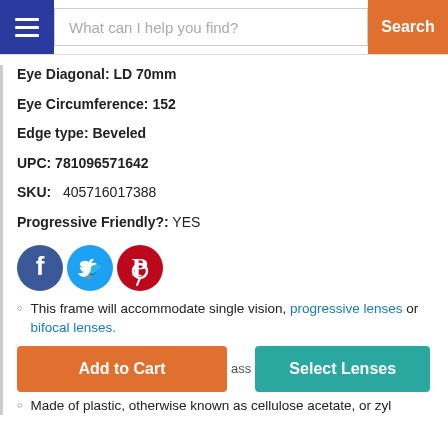What can I help you find? Search
Eye Diagonal: LD 70mm
Eye Circumference: 152
Edge type: Beveled
UPC: 781096571642
SKU: 405716017388
Progressive Friendly?: YES
[Figure (infographic): Social media icons: Facebook (blue circle), Twitter (light blue circle), Pinterest (dark red circle)]
This frame will accommodate single vision, progressive lenses or bifocal lenses.
Add to Cart   ass   Select Lenses
Made of plastic, otherwise known as cellulose acetate, or zyl